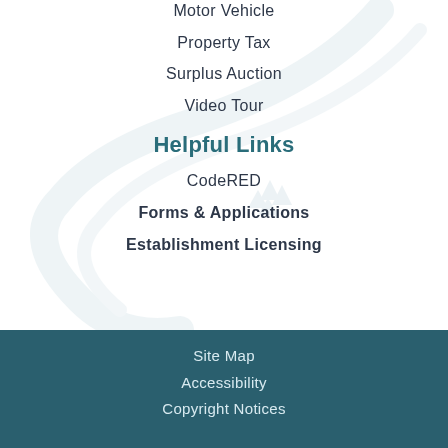Motor Vehicle
Property Tax
Surplus Auction
Video Tour
Helpful Links
CodeRED
Forms & Applications
Establishment Licensing
Site Map
Accessibility
Copyright Notices